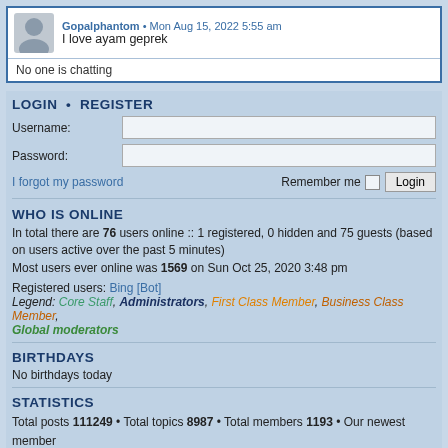Gopalphantom • Mon Aug 15, 2022 5:55 am
I love ayam geprek
No one is chatting
LOGIN • REGISTER
Username:
Password:
I forgot my password   Remember me  Login
WHO IS ONLINE
In total there are 76 users online :: 1 registered, 0 hidden and 75 guests (based on users active over the past 5 minutes)
Most users ever online was 1569 on Sun Oct 25, 2020 3:48 pm
Registered users: Bing [Bot]
Legend: Core Staff, Administrators, First Class Member, Business Class Member, Global moderators
BIRTHDAYS
No birthdays today
STATISTICS
Total posts 111249 • Total topics 8987 • Total members 1193 • Our newest member Emilylinda76